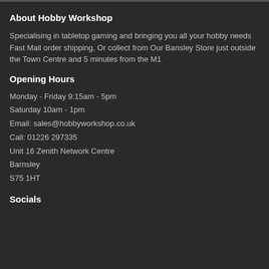About Hobby Workshop
Specialising in tabletop gaming and bringing you all your hobby needs
Fast Mail order shipping, Or collect from Our Bansley Store just outside the Town Centre and 5 minutes from the M1
Opening Hours
Monday - Friday 9:15am - 5pm
Saturday 10am - 1pm
Email: sales@hobbyworkshop.co.uk
Call: 01226 297335
Unit 16 Zenith Network Centre
Barnsley
S75 1HT
Socials